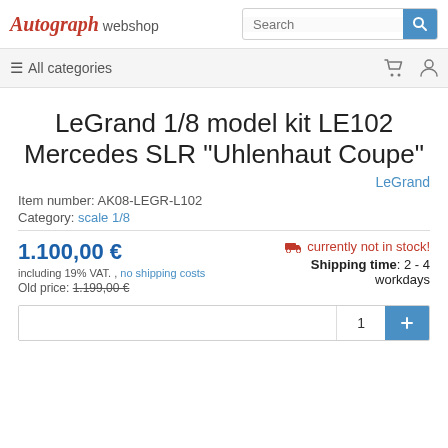Autograph webshop
LeGrand 1/8 model kit LE102 Mercedes SLR "Uhlenhaut Coupe"
LeGrand
Item number: AK08-LEGR-L102
Category: scale 1/8
1.100,00 €
including 19% VAT. , no shipping costs
Old price: 1.199,00 €
currently not in stock! Shipping time: 2 - 4 workdays